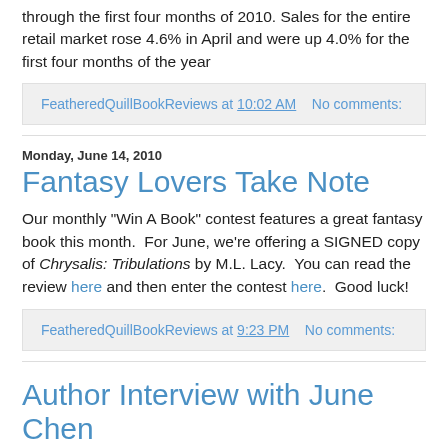through the first four months of 2010. Sales for the entire retail market rose 4.6% in April and were up 4.0% for the first four months of the year
FeatheredQuillBookReviews at 10:02 AM    No comments:
Monday, June 14, 2010
Fantasy Lovers Take Note
Our monthly "Win A Book" contest features a great fantasy book this month.  For June, we're offering a SIGNED copy of Chrysalis: Tribulations by M.L. Lacy.  You can read the review here and then enter the contest here.  Good luck!
FeatheredQuillBookReviews at 9:23 PM    No comments:
Author Interview with June Chen